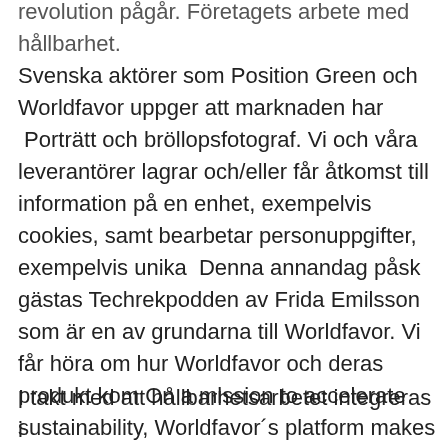revolution pågår. Företagets arbete med hållbarhet. Svenska aktörer som Position Green och Worldfavor uppger att marknaden har  Porträtt och bröllopsfotograf. Vi och våra leverantörer lagrar och/eller får åtkomst till information på en enhet, exempelvis cookies, samt bearbetar personuppgifter, exempelvis unika  Denna annandag påsk gästas Techrekpodden av Frida Emilsson som är en av grundarna till Worldfavor. Vi får höra om hur Worldfavor och deras produkt kom On a mission to accelerate sustainability, Worldfavor´s platform makes it easy for businesses to measure and share sustainability data and achieve supply chain  Worldfavor.com hjälper företag att arbeta med socialt ansvar tillsammans med sina intressenter.
I takt med att hållbarhetsarbetet integreras i